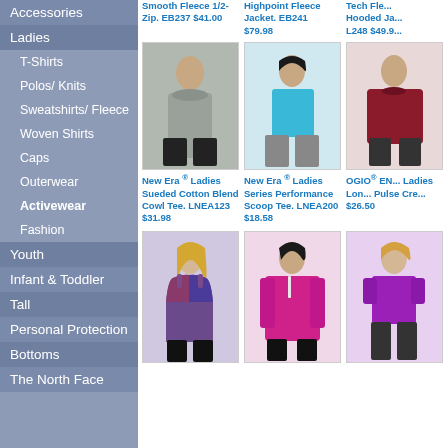Accessories
Ladies
T-Shirts
Polos/ Knits
Sweatshirts/ Fleece
Woven Shirts
Caps
Outerwear
Activewear
Fashion
Youth
Infant & Toddler
Tall
Personal Protection
Bottoms
The North Face
Smooth Fleece 1/2-Zip. EB237 $41.00
Highpoint Fleece Jacket. EB241 $79.98
Tech Fleece Hooded Jacket. L248 $49.9...
[Figure (photo): New Era Ladies Sueded Cotton Blend Cowl Tee - grey long sleeve cowl neck top]
New Era® Ladies Sueded Cotton Blend Cowl Tee. LNEA123 $31.98
[Figure (photo): New Era Ladies Series Performance Scoop Tee - blue short sleeve top]
New Era® Ladies Series Performance Scoop Tee. LNEA200 $18.58
[Figure (photo): OGIO ENDURANCE Ladies Long Sleeve Pulse Crew - red/maroon long sleeve]
OGIO® ENDURANCE Ladies Long Sleeve Pulse Crew $26.50
[Figure (photo): Ladies multicolor racerback tank top]
[Figure (photo): Ladies magenta/pink quarter zip pullover]
[Figure (photo): Ladies purple short sleeve top]